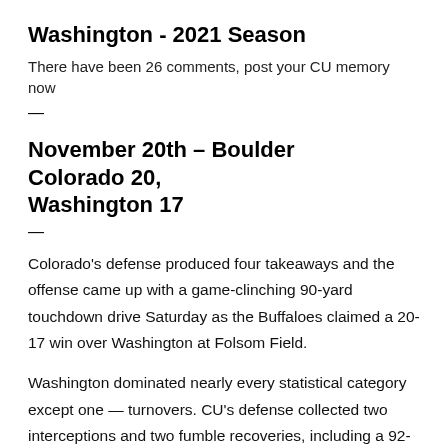Washington - 2021 Season
There have been 26 comments, post your CU memory now
—
November 20th – Boulder      Colorado 20, Washington 17
—
Colorado's defense produced four takeaways and the offense came up with a game-clinching 90-yard touchdown drive Saturday as the Buffaloes claimed a 20-17 win over Washington at Folsom Field.
Washington dominated nearly every statistical category except one — turnovers. CU's defense collected two interceptions and two fumble recoveries, including a 92-yard scoop-and-score by linebacker Jack Lamb in the first quarter